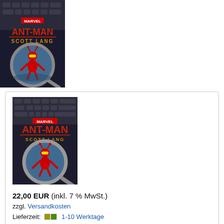[Figure (illustration): Ant-Man Scott Lang Marvel comic book cover showing Ant-Man under a magnifying glass]
22,00 EUR (inkl. 7 % MwSt.)
zzgl. Versandkosten
Lieferzeit: 1-10 Werktage
Details | In den Warenkorb
Atlas at War! (2020) HC
Russ Heath, Stan Lee, Gene Colan, Syd Shores, John